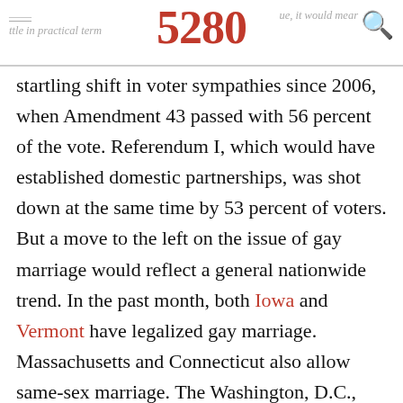little in practical terms due, it would mean 5280 [logo]
startling shift in voter sympathies since 2006, when Amendment 43 passed with 56 percent of the vote. Referendum I, which would have established domestic partnerships, was shot down at the same time by 53 percent of voters. But a move to the left on the issue of gay marriage would reflect a general nationwide trend. In the past month, both Iowa and Vermont have legalized gay marriage. Massachusetts and Connecticut also allow same-sex marriage. The Washington, D.C., City Council voted earlier this week to recognize same-sex-marriages from other states. Pollster Floyd Ciruli